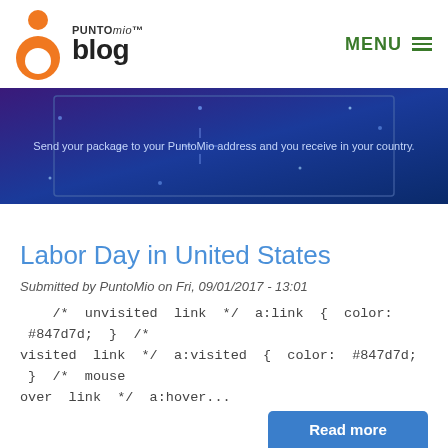PUNTOMIO blog | MENU
[Figure (illustration): Blue banner with stars and text 'Send your package to your PuntoMio address and you receive in your country.']
Labor Day in United States
Submitted by PuntoMio on Fri, 09/01/2017 - 13:01
/* unvisited link */ a:link { color: #847d7d; } /* visited link */ a:visited { color: #847d7d; } /* mouse over link */ a:hover...
Read more